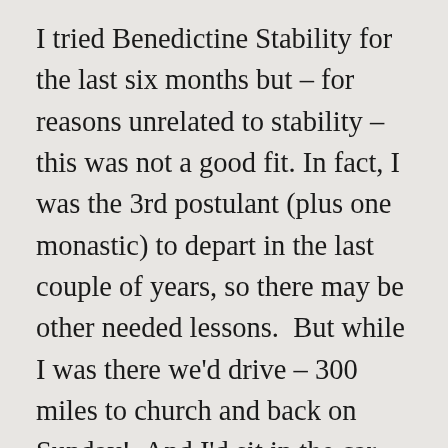I tried Benedictine Stability for the last six months but – for reasons unrelated to stability – this was not a good fit. In fact, I was the 3rd postulant (plus one monastic) to depart in the last couple of years, so there may be other needed lessons.  But while I was there we'd drive – 300 miles to church and back on Sunday!  And I'd sit in the car and listen to the wheels on the road and come near to crying.  For that is, really, where I'm at rest: on that road; a dark night on a highway, trucks as far as the eye can see and a lone car – or two